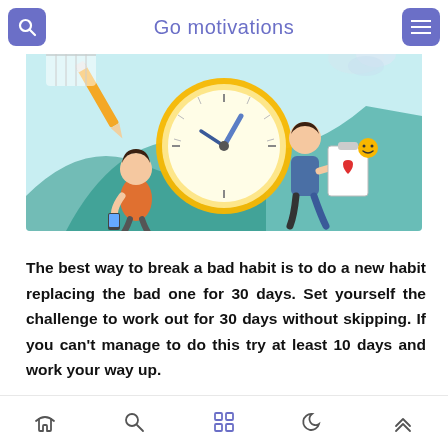Go motivations
[Figure (illustration): Motivational illustration showing a large clock/timer in the center, a woman sitting and looking at her phone on the left, a man walking on the right holding a checklist clipboard with a heart icon, decorative pencil, calendar, cloud, and geometric shapes in the background on a light blue background.]
The best way to break a bad habit is to do a new habit replacing the bad one for 30 days. Set yourself the challenge to work out for 30 days without skipping. If you can't manage to do this try at least 10 days and work your way up.
Home | Search | Grid | Dark mode | Scroll up